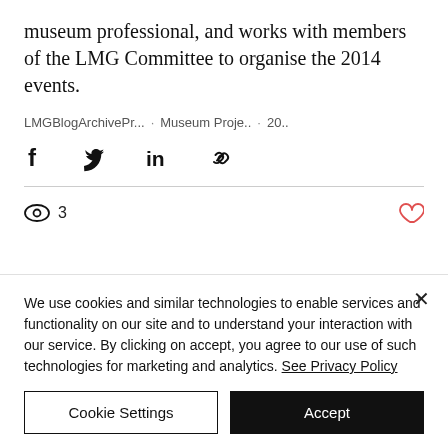museum professional, and works with members of the LMG Committee to organise the 2014 events.
LMGBlogArchivePr... · Museum Proje.. · 20..
[Figure (other): Social share icons: Facebook, Twitter, LinkedIn, link/chain icon]
3 views, like (heart icon)
We use cookies and similar technologies to enable services and functionality on our site and to understand your interaction with our service. By clicking on accept, you agree to our use of such technologies for marketing and analytics. See Privacy Policy
Cookie Settings | Accept